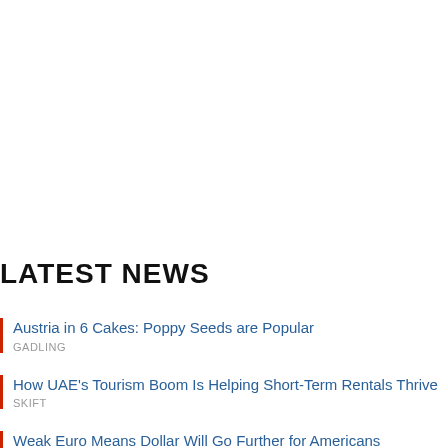LATEST NEWS
Austria in 6 Cakes: Poppy Seeds are Popular
GADLING
How UAE's Tourism Boom Is Helping Short-Term Rentals Thrive
SKIFT
Weak Euro Means Dollar Will Go Further for Americans